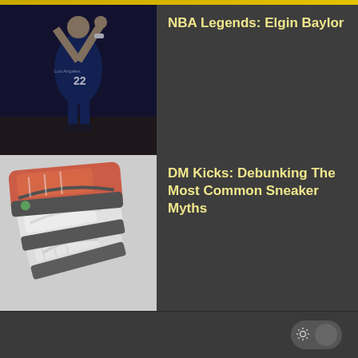[Figure (photo): Basketball player wearing Los Angeles Lakers #22 jersey shooting basketball, black and white/sepia tone photo]
NBA Legends: Elgin Baylor
[Figure (photo): Close-up photo of multiple sneakers/Jordan shoes in red, black and white colorways]
DM Kicks: Debunking The Most Common Sneaker Myths